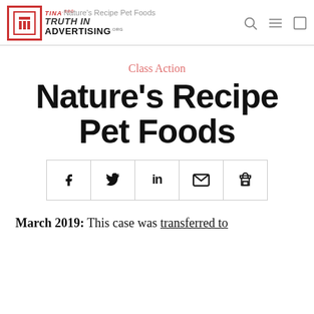TINA TRUTH IN ADVERTISING.ORG — Nature's Recipe Pet Foods
Class Action
Nature's Recipe Pet Foods
[Figure (other): Social share buttons bar with icons for Facebook, Twitter, LinkedIn, Email, and Print]
March 2019: This case was transferred to